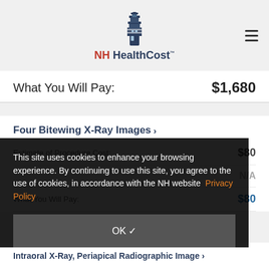[Figure (logo): NH HealthCost lighthouse logo with text]
What You Will Pay: $1,680
Four Bitewing X-Ray Images >
Estimate of Procedure Cost: $80
N/A
What You Will Pay: $80
This site uses cookies to enhance your browsing experience. By continuing to use this site, you agree to the use of cookies, in accordance with the NH website Privacy Policy
OK ✓
Intraoral X-Ray, Periapical Radiographic Image >